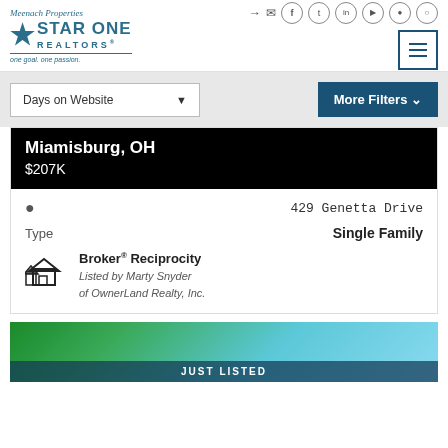[Figure (logo): Meenach Properties Star One Realtors logo with tagline 'one goal. one passion.']
Days on Website
More Filters
Miamisburg, OH
$207K
429 Genetta Drive
Type
Single Family
[Figure (logo): Broker Reciprocity logo with house icon]
Broker® Reciprocity
Listed by Marty Snyder of OwnerLand Realty, Inc.
JUST LISTED